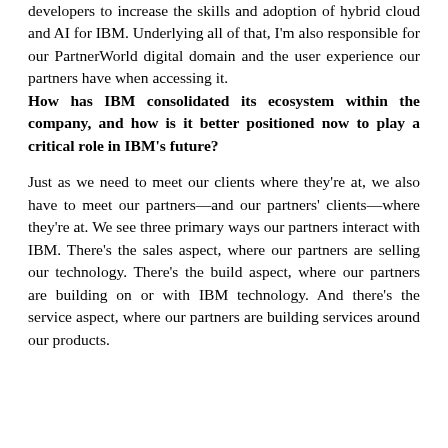developers to increase the skills and adoption of hybrid cloud and AI for IBM. Underlying all of that, I'm also responsible for our PartnerWorld digital domain and the user experience our partners have when accessing it.
How has IBM consolidated its ecosystem within the company, and how is it better positioned now to play a critical role in IBM's future?
Just as we need to meet our clients where they're at, we also have to meet our partners—and our partners' clients—where they're at. We see three primary ways our partners interact with IBM. There's the sales aspect, where our partners are selling our technology. There's the build aspect, where our partners are building on or with IBM technology. And there's the service aspect, where our partners are building services around our products.